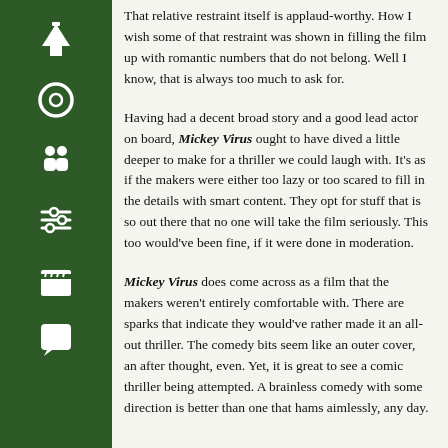[Figure (infographic): Dark green vertical sidebar with white icons: up arrow, circle/target, two people, sliders/settings, film clapperboard, speech bubble]
That relative restraint itself is applaud-worthy. How I wish some of that restraint was shown in filling the film up with romantic numbers that do not belong. Well I know, that is always too much to ask for.
Having had a decent broad story and a good lead actor on board, Mickey Virus ought to have dived a little deeper to make for a thriller we could laugh with. It's as if the makers were either too lazy or too scared to fill in the details with smart content. They opt for stuff that is so out there that no one will take the film seriously. This too would've been fine, if it were done in moderation.
Mickey Virus does come across as a film that the makers weren't entirely comfortable with. There are sparks that indicate they would've rather made it an all-out thriller. The comedy bits seem like an outer cover, an after thought, even. Yet, it is great to see a comic thriller being attempted. A brainless comedy with some direction is better than one that hams aimlessly, any day.